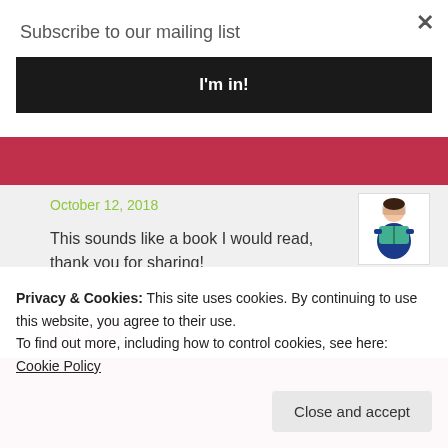Subscribe to our mailing list
I'm in!
October 12, 2018
This sounds like a book I would read, thank you for sharing!
★ Liked by 1 person
Reply
Privacy & Cookies: This site uses cookies. By continuing to use this website, you agree to their use.
To find out more, including how to control cookies, see here: Cookie Policy
Close and accept